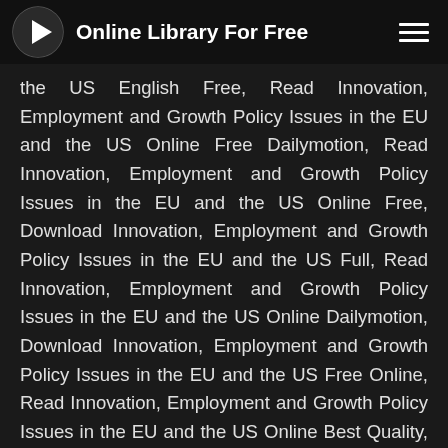Online Library For Free
the US English Free, Read Innovation, Employment and Growth Policy Issues in the EU and the US Online Free Dailymotion, Read Innovation, Employment and Growth Policy Issues in the EU and the US Online Free, Download Innovation, Employment and Growth Policy Issues in the EU and the US Full, Read Innovation, Employment and Growth Policy Issues in the EU and the US Online Dailymotion, Download Innovation, Employment and Growth Policy Issues in the EU and the US Free Online, Read Innovation, Employment and Growth Policy Issues in the EU and the US Online Best Quality, Read Innovation, Employment and Growth Policy Issues in the EU and the US Free Good Quality, Read Innovation, Employment and Growth Policy Issues in the EU and the US Online Free Yes Books, Read Innovation, Employment and Growth Policy Issues in